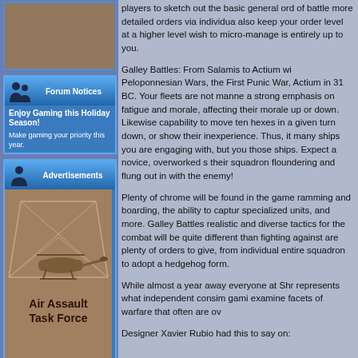[Figure (photo): Brown/tan colored banner image at top of left column]
[Figure (infographic): Forum Notices banner with two silhouette figures and blue gradient header]
Enjoy Gaming this Holiday Season!

Make gaming your priority this year.
[Figure (infographic): Advertisements banner with single silhouette figure and blue gradient header]
[Figure (photo): Air Assault Task Force game advertisement image showing helicopter with geometric frame overlay]
players to sketch out the basic general ord of battle more detailed orders via individua also keep your order level at a higher level wish to micro-manage is entirely up to you.
Galley Battles: From Salamis to Actium wi Peloponnesian Wars, the First Punic War, Actium in 31 BC. Your fleets are not manne a strong emphasis on fatigue and morale, affecting their morale up or down. Likewise capability to move ten hexes in a given turn down, or show their inexperience. Thus, it many ships you are engaging with, but you those ships. Expect a novice, overworked s their squadron floundering and flung out in with the enemy!
Plenty of chrome will be found in the game ramming and boarding, the ability to captur specialized units, and more. Galley Battles realistic and diverse tactics for the combat will be quite different than fighting against are plenty of orders to give, from individual entire squadron to adopt a hedgehog form.
While almost a year away everyone at Shr represents what independent consim gami examine facets of warfare that often are ov
Designer Xavier Rubio had this to say on: